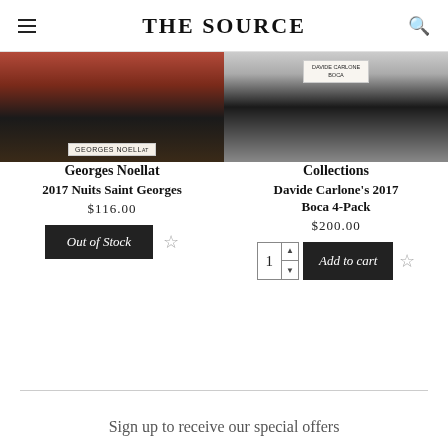THE SOURCE
[Figure (photo): Wine bottle close-up showing Georges Noellat label, dark bottle with red foil, on a brown wooden surface]
[Figure (photo): Wine bottle close-up showing Davide Carlone label, dark bottle with light-colored label, on a gray background]
Georges Noellat
2017 Nuits Saint Georges
$116.00
Collections
Davide Carlone's 2017 Boca 4-Pack
$200.00
Sign up to receive our special offers